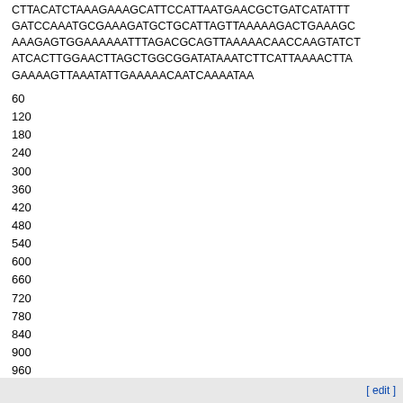CTTACATCTAAAGAAAGCATTCCATTAATGAACGCTGATCATATTT GATCCAAATGCGAAAGATGCTGCATTAGTTAAAAAGACTGAAAGC AAAGAGTGGAAAAAATTTAGACGCAGTTAAAAACAACCAAGTATCT ATCACTTGGAACTTAGCTGGCGGATATAAATCTTCATTAAAACTTA GAAAAGTTAAATATTGAAAAACAATCAAAATAA
60
120
180
240
300
360
420
480
540
600
660
720
780
840
900
960
993
[ edit ]